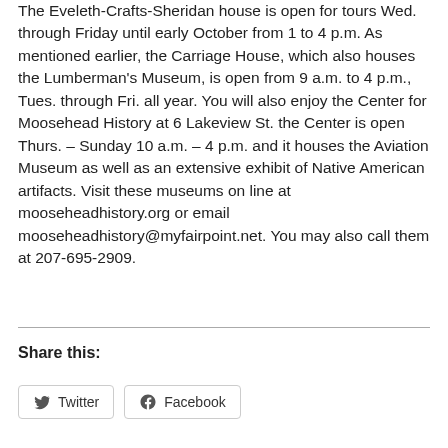The Eveleth-Crafts-Sheridan house is open for tours Wed. through Friday until early October from 1 to 4 p.m. As mentioned earlier, the Carriage House, which also houses the Lumberman's Museum, is open from 9 a.m. to 4 p.m., Tues. through Fri. all year. You will also enjoy the Center for Moosehead History at 6 Lakeview St. the Center is open Thurs. – Sunday 10 a.m. – 4 p.m. and it houses the Aviation Museum as well as an extensive exhibit of Native American artifacts. Visit these museums on line at mooseheadhistory.org or email mooseheadhistory@myfairpoint.net. You may also call them at 207-695-2909.
Share this:
Twitter
Facebook